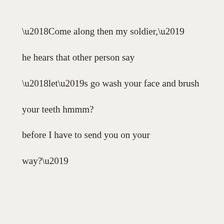‘Come along then my soldier,’
he hears that other person say
‘let’s go wash your face and brush
your teeth hmmm?
before I have to send you on your
way?’